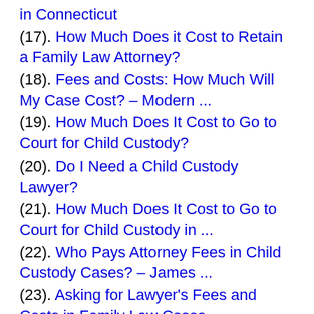in Connecticut
(17). How Much Does it Cost to Retain a Family Law Attorney?
(18). Fees and Costs: How Much Will My Case Cost? – Modern ...
(19). How Much Does It Cost to Go to Court for Child Custody?
(20). Do I Need a Child Custody Lawyer?
(21). How Much Does It Cost to Go to Court for Child Custody in ...
(22). Who Pays Attorney Fees in Child Custody Cases? – James ...
(23). Asking for Lawyer's Fees and Costs in Family Law Cases